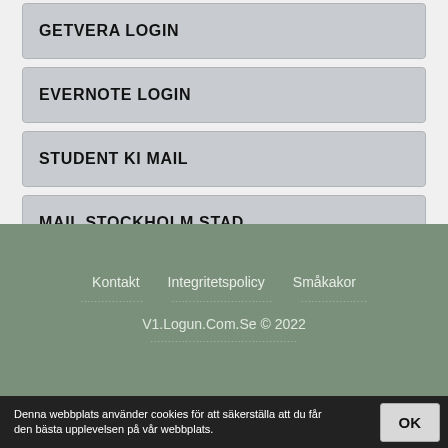GETVERA LOGIN
EVERNOTE LOGIN
STUDENT KI MAIL
MAIL STOCKHOLM STAD
Kontakt   Integritetspolicy   Småkakor
V1.Logun.Com.Se © 2022
Denna webbplats använder cookies för att säkerställa att du får den bästa upplevelsen på vår webbplats.